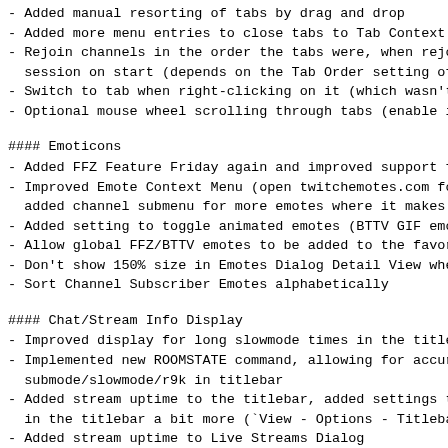- Added manual resorting of tabs by drag and drop
- Added more menu entries to close tabs to Tab Context
- Rejoin channels in the order the tabs were, when rejo session on start (depends on the Tab Order setting of
- Switch to tab when right-clicking on it (which wasn't
- Optional mouse wheel scrolling through tabs (enable i
#### Emoticons
- Added FFZ Feature Friday again and improved support f
- Improved Emote Context Menu (open twitchemotes.com fo added channel submenu for more emotes where it makes
- Added setting to toggle animated emotes (BTTV GIF emo
- Allow global FFZ/BTTV emotes to be added to the favor
- Don't show 150% size in Emotes Dialog Detail View whe
- Sort Channel Subscriber Emotes alphabetically
#### Chat/Stream Info Display
- Improved display for long slowmode times in the title
- Implemented new ROOMSTATE command, allowing for accur submode/slowmode/r9k in titlebar
- Added stream uptime to the titlebar, added settings t in the titlebar a bit more (`View - Options - Titleba
- Added stream uptime to Live Streams Dialog
#### Settings / Configuration
- Added timestamp option to "Log to file" settings (pre with setting commands)
- Highlight/Ignore: Allow non-standard channels in `cha
- Added setting for minimum userlist width
- Switched default ports to `6667,443` due to port 80 t